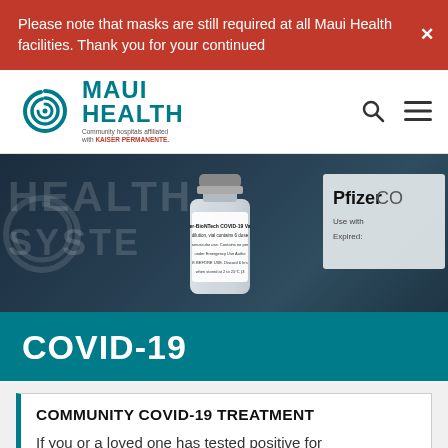Please note that masks are still required at all Maui Health facilities. Thank you for your continued
[Figure (logo): Maui Health logo with spiral icon and tagline 'Community hospitals affiliated with KAISER PERMANENTE.']
[Figure (photo): Photo of Pfizer-BioNTech COVID-19 vaccine vial in front of a Health System sign background]
COVID-19
COMMUNITY COVID-19 TREATMENT
If you or a loved one has tested positive for